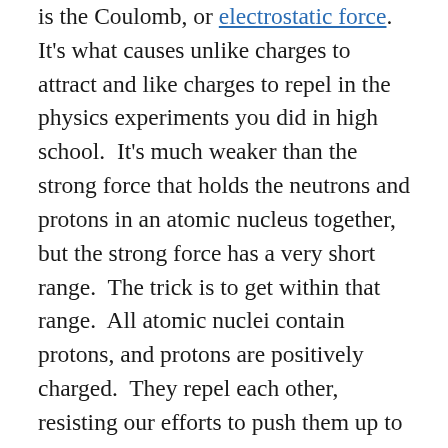is the Coulomb, or electrostatic force. It's what causes unlike charges to attract and like charges to repel in the physics experiments you did in high school.  It's much weaker than the strong force that holds the neutrons and protons in an atomic nucleus together, but the strong force has a very short range.  The trick is to get within that range.  All atomic nuclei contain protons, and protons are positively charged.  They repel each other, resisting our efforts to push them up to the edge of the “well,” where the strong force will finally overwhelm the Coulomb force, causing these tiny “bowling balls” to drop in.  So far, only atomic bombs have supplied enough energy to provide a “push” big enough to result in a net release of fusion energy.